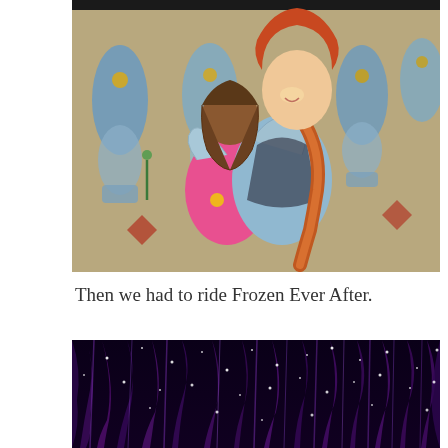[Figure (photo): A child in a pink shirt hugging a character performer dressed as Anna from Frozen, in front of a colorful Norwegian-themed wall mural with blue vase shapes and floral motifs.]
Then we had to ride Frozen Ever After.
[Figure (photo): A dark scene from the Frozen Ever After ride, showing a starry night sky with purple icy stalactites or curtain-like formations hanging down against a black background.]